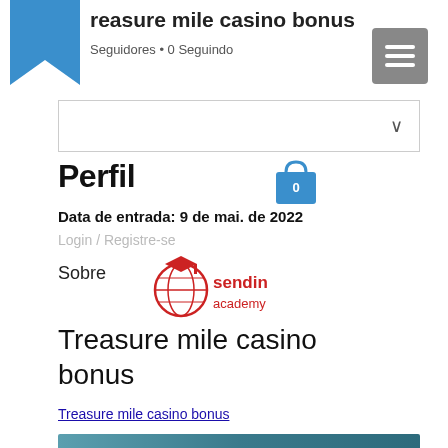treasure mile casino bonus
Seguidores • 0 Seguindo
Perfil
Data de entrada: 9 de mai. de 2022
Login / Registre-se
Sobre
[Figure (logo): Sendin Academy logo — red circular globe with graduation cap and red text 'sendin academy']
Treasure mile casino bonus
Treasure mile casino bonus